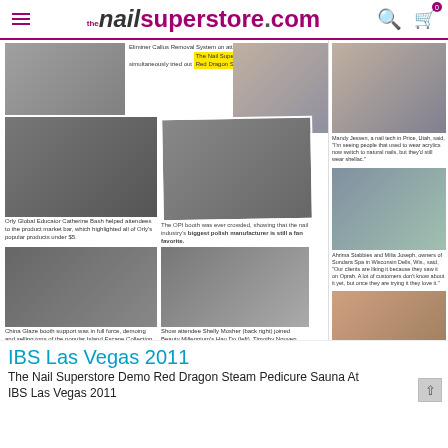nailsuperstore.com
[Figure (photo): Website screenshot showing nailsuperstore.com with photos from IBS Las Vegas 2011 trade show including nail product booths and attendees]
Eliminer Callus Removal System on attendee Donna Turner, who simultaneously tried out The Nail Superstore's Red Dragon Sauna chair
Orly Global Educator Catherine Bash helped attendees to the product market bar, which highlighted all of Orly's popular products under $5.
The OPI booth was ever crowded, showing that the nail industry's biggest polish manufacturer is still a fan favorite.
China Glaze booth support was in full force, demoing and selling tons of the popular Island Escape Collection and new Crackle polishes.
Show attendee Shelly Mosher (back right) joined Beauty Millennium's Hau Do (left), Timothy Nguyen, and Lisa Comfort in a photo at their booth.
Mandy Jessen, a nail tech in Price, Utah, said, "I'm seeing people that used to wear acrylics now switch to natural nails, but they'd still wear shellac."
Ahrima Stabbies and Milia Joseph, owners of Sundara Spa in Wisconsin Dells, Wis., said, "Our clients are liking it because they saw it on Oprah. A lot of customers don't know about it yet, but once they are trying it they love it."
Families at the Show
IBS Las Vegas 2011
The Nail Superstore Demo Red Dragon Steam Pedicure Sauna At IBS Las Vegas 2011